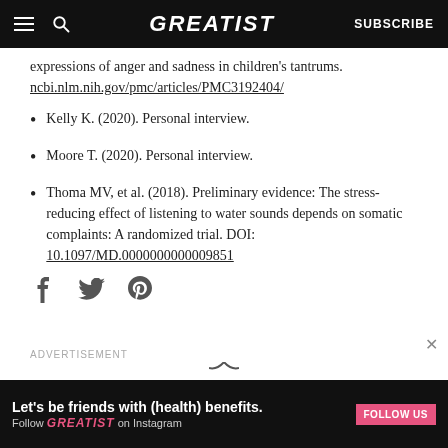GREATIST | SUBSCRIBE
expressions of anger and sadness in children's tantrums. ncbi.nlm.nih.gov/pmc/articles/PMC3192404/
Kelly K. (2020). Personal interview.
Moore T. (2020). Personal interview.
Thoma MV, et al. (2018). Preliminary evidence: The stress-reducing effect of listening to water sounds depends on somatic complaints: A randomized trial. DOI: 10.1097/MD.0000000000009851
[Figure (other): Social share icons: Facebook, Twitter, Pinterest]
[Figure (other): Advertisement banner: Let's be friends with (health) benefits. Follow GREATIST on Instagram. FOLLOW US button.]